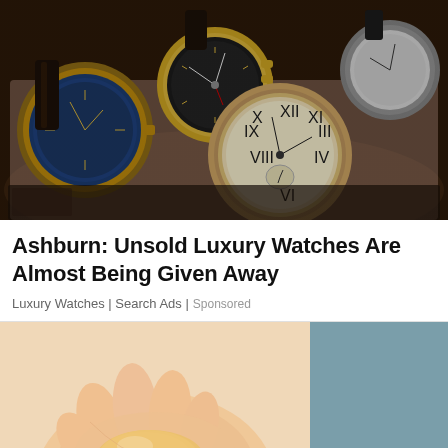[Figure (photo): Collection of luxury watches displayed in a watch box with brown leather lining. Multiple watches with gold and rose gold cases, various dial colors including blue, black, and white with Roman numerals.]
Ashburn: Unsold Luxury Watches Are Almost Being Given Away
Luxury Watches | Search Ads | Sponsored
[Figure (photo): Partial view of a child's hand holding a yellow object against a light background, with a teal/blue-gray panel on the right side.]